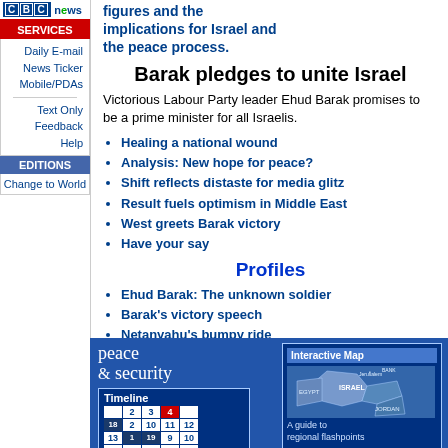[Figure (logo): BBC News logo with blue BBC boxes and green 'news' text]
SERVICES
Daily E-mail
News Ticker
Mobile/PDAs
Text Only
Feedback
Help
EDITIONS
Change to World
figures and the implications for Israel and the peace process.
Barak pledges to unite Israel
Victorious Labour Party leader Ehud Barak promises to be a prime minister for all Israelis.
Healing a national wound
Analysis: New hope for peace?
Shift reflects distaste for media glitz
Result fuels optimism in Middle East
West greets Barak victory
Have your say
Profiles
Ehud Barak: The unknown soldier
Barak's victory speech
Netanyahu's bumpy ride
Netanyahu's concession speech
[Figure (screenshot): Peace & Security promotional banner with Timeline and Interactive Map sections]